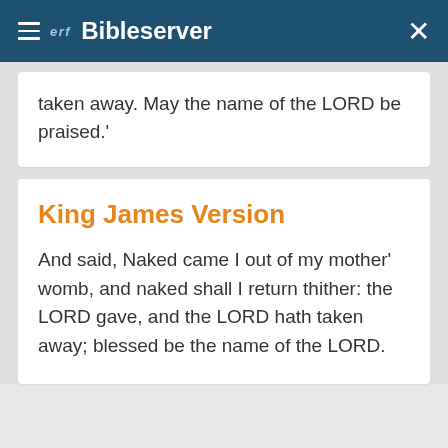ERF Bibleserver
taken away. May the name of the LORD be praised.'
King James Version
And said, Naked came I out of my mother' womb, and naked shall I return thither: the LORD gave, and the LORD hath taken away; blessed be the name of the LORD.